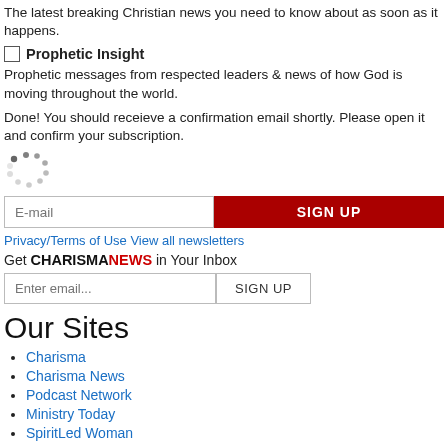The latest breaking Christian news you need to know about as soon as it happens.
Prophetic Insight
Prophetic messages from respected leaders & news of how God is moving throughout the world.
Done! You should receieve a confirmation email shortly. Please open it and confirm your subscription.
[Figure (other): Spinner/loading dots animation indicator]
E-mail [input field] SIGN UP
Privacy/Terms of Use  View all newsletters
Get CHARISMANEWS in Your Inbox
Enter email... SIGN UP
Our Sites
Charisma
Charisma News
Podcast Network
Ministry Today
SpiritLed Woman